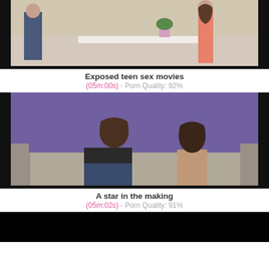[Figure (photo): Video thumbnail showing two people in a kitchen]
Exposed teen sex movies
(05m:00s) - Porn Quality: 92%
[Figure (photo): Video thumbnail showing two people on a couch]
A star in the making
(05m:02s) - Porn Quality: 91%
[Figure (photo): Dark/black video thumbnail placeholder]